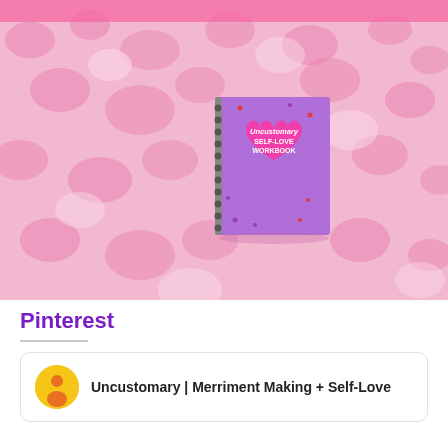[Figure (photo): Photo of a purple spiral-bound 'Uncustomary Self-Love Workbook' with a pink heart on the cover, lying on a fluffy pink rug/carpet]
Pinterest
Uncustomary | Merriment Making + Self-Love